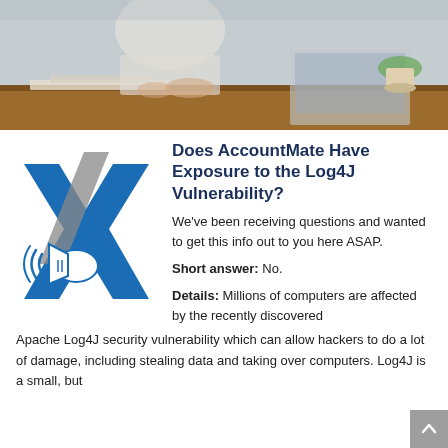[Figure (photo): Office/business scene showing a person in a white blazer at a desk with a laptop, papers, and a small plant in the background]
Does AccountMate Have Exposure to the Log4J Vulnerability?
We've been receiving questions and wanted to get this info out to you here ASAP.
Short answer: No.
Details: Millions of computers are affected by the recently discovered Apache Log4J security vulnerability which can allow hackers to do a lot of damage, including stealing data and taking over computers. Log4J is a small, but